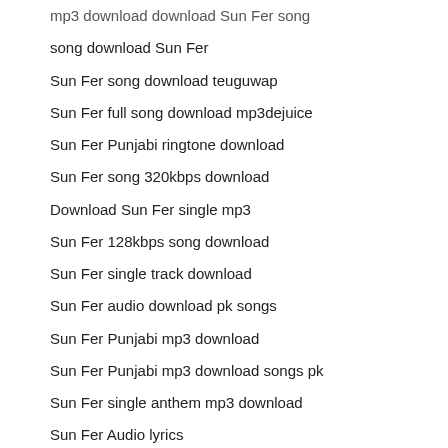mp3 download download Sun Fer song
song download Sun Fer
Sun Fer song download teuguwap
Sun Fer full song download mp3dejuice
Sun Fer Punjabi ringtone download
Sun Fer song 320kbps download
Download Sun Fer single mp3
Sun Fer 128kbps song download
Sun Fer single track download
Sun Fer audio download pk songs
Sun Fer Punjabi mp3 download
Sun Fer Punjabi mp3 download songs pk
Sun Fer single anthem mp3 download
Sun Fer Audio lyrics
Sun Fer Punjabi lyrics download
Sun Fer lyrical song download
Sun Fer wynk music
online song Sun Fer
Sun Fer new hindi bestwap song
Sun Fer Punjabi naa song
Sun Fer Sukhpreet Kaur song